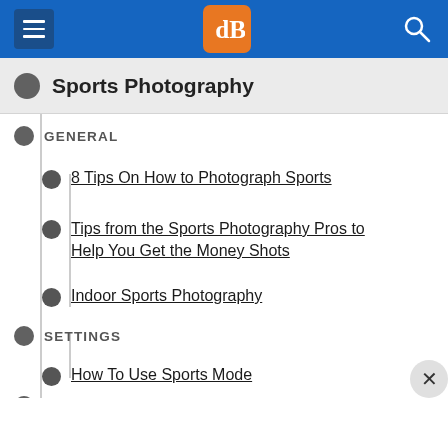dPS (digital photography school) navigation header
Sports Photography
GENERAL
8 Tips On How to Photograph Sports
Tips from the Sports Photography Pros to Help You Get the Money Shots
Indoor Sports Photography
SETTINGS
How To Use Sports Mode
LIGHTING